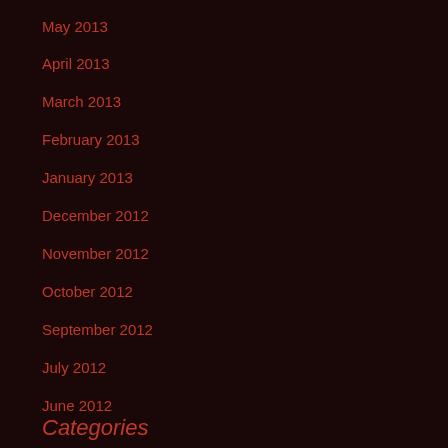May 2013
April 2013
March 2013
February 2013
January 2013
December 2012
November 2012
October 2012
September 2012
July 2012
June 2012
Categories